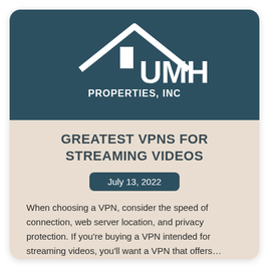[Figure (logo): UMH Properties, Inc logo: white house/roof outline with chimney/door shapes and text 'UMH PROPERTIES, INC' on dark teal background]
GREATEST VPNS FOR STREAMING VIDEOS
July 13, 2022
When choosing a VPN, consider the speed of connection, web server location, and privacy protection. If you're buying a VPN intended for streaming videos, you'll want a VPN that offers...